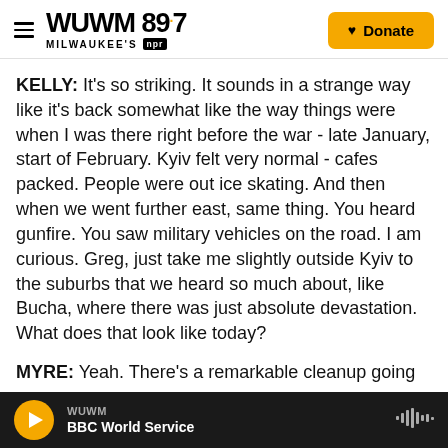WUWM 89.7 MILWAUKEE'S NPR — Donate
KELLY: It's so striking. It sounds in a strange way like it's back somewhat like the way things were when I was there right before the war - late January, start of February. Kyiv felt very normal - cafes packed. People were out ice skating. And then when we went further east, same thing. You heard gunfire. You saw military vehicles on the road. I am curious. Greg, just take me slightly outside Kyiv to the suburbs that we heard so much about, like Bucha, where there was just absolute devastation. What does that look like today?
MYRE: Yeah. There's a remarkable cleanup going
WUWM — BBC World Service